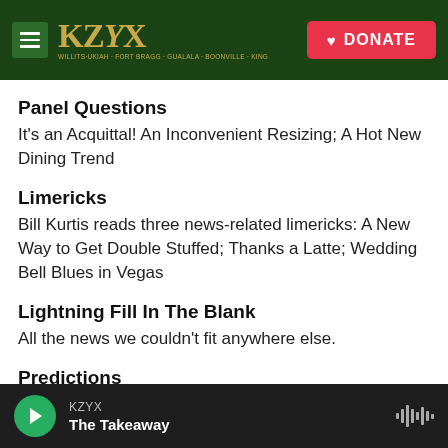KZYX | DONATE
Panel Questions
It's an Acquittal! An Inconvenient Resizing; A Hot New Dining Trend
Limericks
Bill Kurtis reads three news-related limericks: A New Way to Get Double Stuffed; Thanks a Latte; Wedding Bell Blues in Vegas
Lightning Fill In The Blank
All the news we couldn't fit anywhere else.
Predictions
KZYX | The Takeaway